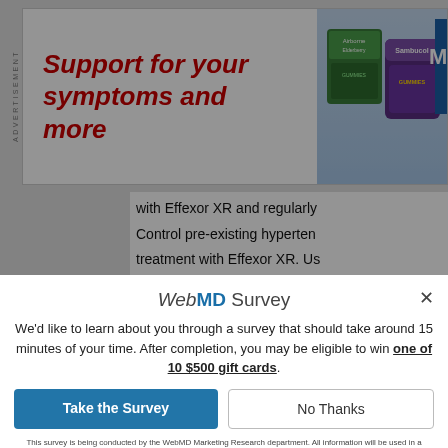[Figure (advertisement): Advertisement banner with red italic bold text 'Support for your symptoms and more' and product images on the right (green and purple supplement bottles/packages)]
with Effexor XR and regularly
Control pre-existing hyperten
treatment with Effexor XR. Us
patients with pre-existing hyr
WebMD Survey
We'd like to learn about you through a survey that should take around 15 minutes of your time. After completion, you may be eligible to win one of 10 $500 gift cards.
Take the Survey
No Thanks
This survey is being conducted by the WebMD Marketing Research department. All information will be used in a manner consistent with the WebMD privacy policy. NO PURCHASE OR SURVEY NECESSARY TO ENTER OR WIN. A purchase or survey will not increase your chances of winning. Open to legal residents of the fifty (50) United States, and the District of Columbia (DC) who are age 18 or older, and to whom this offer is addressed. Sweepstakes starts at 12:00:01 AM ET on 1/24/22 and ends at 11:59:59 PM ET on 12/31/22. See Official Rules for complete details and alternate method of entry. Void where prohibited. SPONSOR: WebMD LLC.